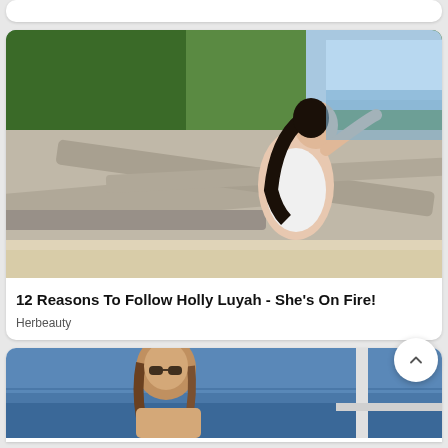[Figure (photo): Partial top of a card, cropped at the very top of the page]
[Figure (photo): Woman with dark hair in white swimsuit posing on driftwood at a beach with trees in background]
12 Reasons To Follow Holly Luyah - She's On Fire!
Herbeauty
[Figure (photo): Woman with brown hair outdoors near water, partial view at bottom of page]